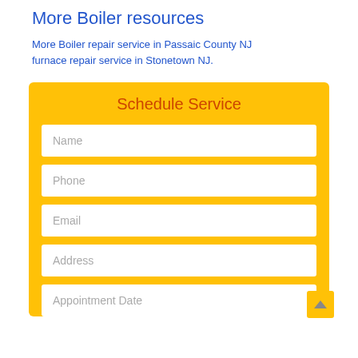More Boiler resources
More Boiler repair service in Passaic County NJ furnace repair service in Stonetown NJ.
Schedule Service
Name
Phone
Email
Address
Appointment Date